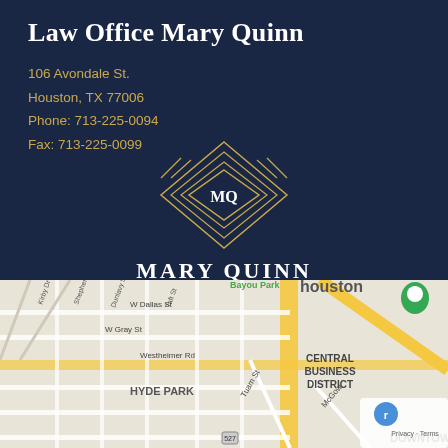Law Office Mary Quinn
106 Avondale St.
Houston, TX 77006
Phone: 713-225-0094
Fax: 713-225-0099
[Figure (logo): MQ diamond geometric logo for Mary Quinn Houston Family Law]
[Figure (map): Google Maps screenshot showing Houston area with Hyde Park, Central Business District, and surrounding streets including W Dallas St, W Gray St, Westheimer Rd. Green marker visible.]